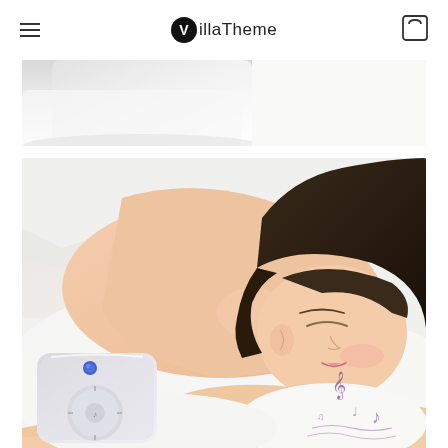VillaTheme
[Figure (photo): Top portion of a white electronic device (white noise machine / sleep sound machine) on a white background, showing the curved top edge of the device]
[Figure (photo): A young Asian woman sleeping peacefully on a white pillow/bed, with a white sleep sound machine (white noise machine) in the foreground showing a circular control dial and blue LED button, and musical note graphics overlaid on the right side of the pillow]